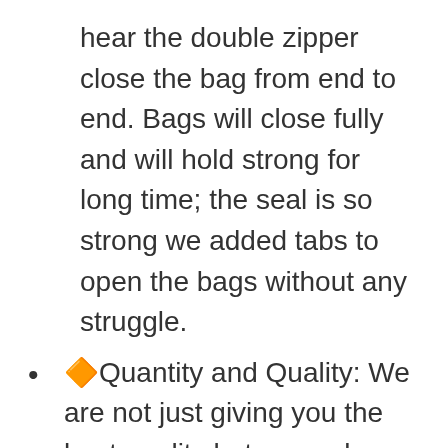hear the double zipper close the bag from end to end. Bags will close fully and will hold strong for long time; the seal is so strong we added tabs to open the bags without any struggle.
🔶Quantity and Quality: We are not just giving you the best quality but were also giving you the best quantity for your money. With other brands you have to choose which one to sacrifice in order to get one for a good price. 24/7 Bags on the other hand gives you both for a